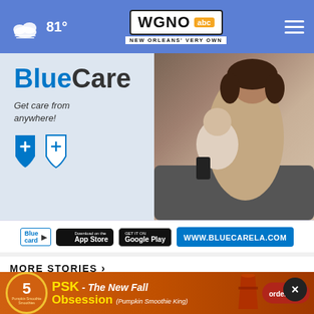81° WGNO abc NEW ORLEANS' VERY OWN
[Figure (photo): BlueCare advertisement — 'BlueCare: Get care from anywhere!' with Blue Cross Blue Shield shields logo and a mother holding a baby with a phone, plus App Store, Google Play, and www.bluecarela.com links]
MORE STORIES ›
Eyes on Kherson as Ukraine cl…ns
[Figure (photo): PSK — The New Fall Obsession advertisement with Pumpkin Smoothie King cup and order now button]